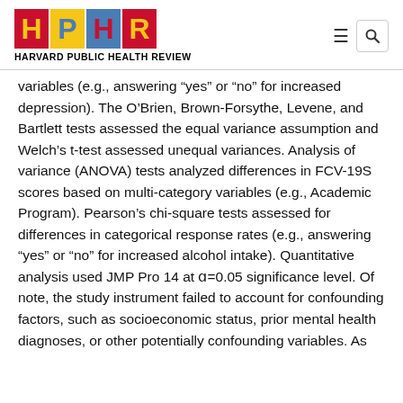HARVARD PUBLIC HEALTH REVIEW
variables (e.g., answering “yes” or “no” for increased depression). The O’Brien, Brown-Forsythe, Levene, and Bartlett tests assessed the equal variance assumption and Welch’s t-test assessed unequal variances. Analysis of variance (ANOVA) tests analyzed differences in FCV-19S scores based on multi-category variables (e.g., Academic Program). Pearson’s chi-square tests assessed for differences in categorical response rates (e.g., answering “yes” or “no” for increased alcohol intake). Quantitative analysis used JMP Pro 14 at α=0.05 significance level. Of note, the study instrument failed to account for confounding factors, such as socioeconomic status, prior mental health diagnoses, or other potentially confounding variables. As